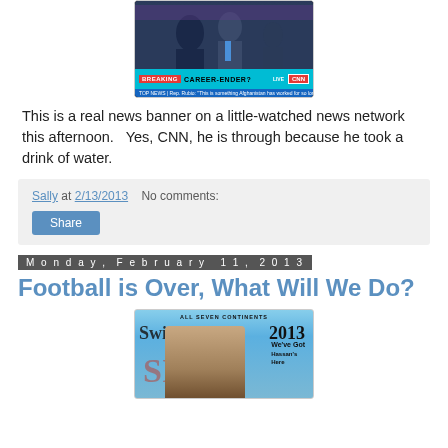[Figure (photo): TV screen showing CNN news banner reading CAREER-ENDER? with LIVE CNN logo and news ticker]
This is a real news banner on a little-watched news network this afternoon.   Yes, CNN, he is through because he took a drink of water.
Sally at 2/13/2013    No comments:
Share
Monday, February 11, 2013
Football is Over, What Will We Do?
[Figure (photo): Sports Illustrated Swimsuit 2013 magazine cover showing a model in a fur-trimmed hood with ALL SEVEN CONTINENTS text at top]